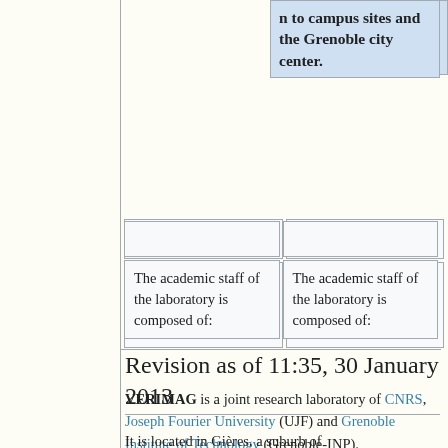n to campus sites and the Grenoble city center.
|  |  |
| The academic staff of the laboratory is composed of: | The academic staff of the laboratory is composed of: |
Revision as of 11:35, 30 January 2013
VERIMAG is a joint research laboratory of CNRS, Joseph Fourier University (UJF) and Grenoble Institute of Technology (Grenoble-INP).
It is located in Gières, a suburb of